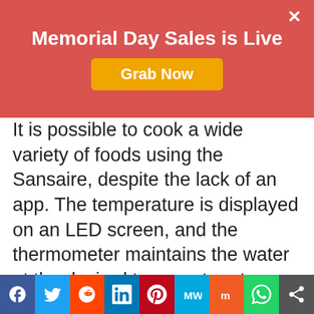Memorial Day Sales is Live
It is possible to cook a wide variety of foods using the Sansaire, despite the lack of an app. The temperature is displayed on an LED screen, and the thermometer maintains the water at the desired temperature to within 0.1°C. Professional chefs claim to use the Sansaire in some of the world's best restaurants.
The most popular item With over 3,000 Amazon reviews, Anova Sous Vide is probably the most well-known cooking machine. Attach the Anova to any water-filled pot, put your food in a zip lock bag and
Social share bar: Facebook, Twitter, Reddit, LinkedIn, Pinterest, MeWe, Mix, WhatsApp, Share